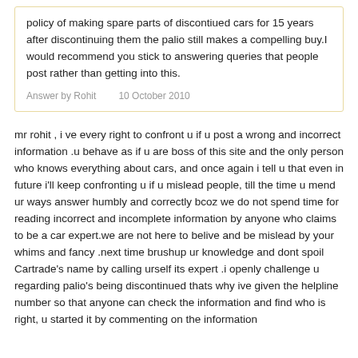policy of making spare parts of discontiued cars for 15 years after discontinuing them the palio still makes a compelling buy.I would recommend you stick to answering queries that people post rather than getting into this.
Answer by Rohit    10 October 2010
mr rohit , i ve every right to confront u if u post a wrong and incorrect information .u behave as if u are boss of this site and the only person who knows everything about cars, and once again i tell u that even in future i'll keep confronting u if u mislead people, till the time u mend ur ways answer humbly and correctly bcoz we do not spend time for reading incorrect and incomplete information by anyone who claims to be a car expert.we are not here to belive and be mislead by your whims and fancy .next time brushup ur knowledge and dont spoil Cartrade's name by calling urself its expert .i openly challenge u regarding palio's being discontinued thats why ive given the helpline number so that anyone can check the information and find who is right, u started it by commenting on the information